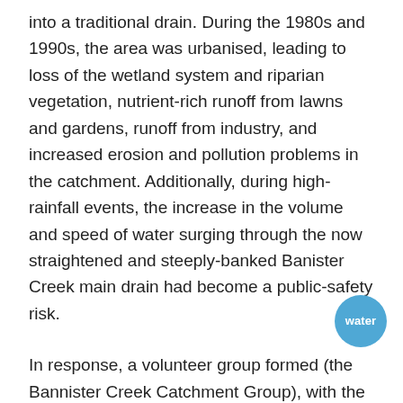into a traditional drain. During the 1980s and 1990s, the area was urbanised, leading to loss of the wetland system and riparian vegetation, nutrient-rich runoff from lawns and gardens, runoff from industry, and increased erosion and pollution problems in the catchment. Additionally, during high-rainfall events, the increase in the volume and speed of water surging through the now straightened and steeply-banked Banister Creek main drain had become a public-safety risk.
In response, a volunteer group formed (the Bannister Creek Catchment Group), with the aim of improving the creek/drain, including a project to rehabilitate a section of it to a “living stream”. The aim was that this would provide flood-mitigation, local amenity benefits, improved water quality, and slower flow velocity.